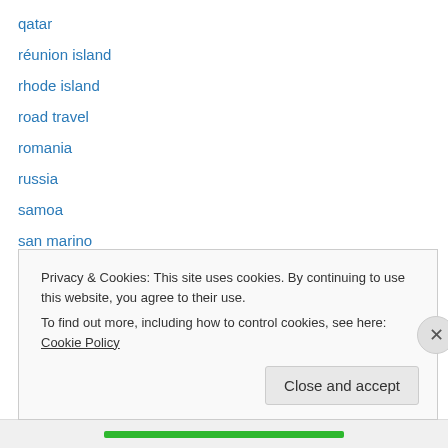qatar
réunion island
rhode island
road travel
romania
russia
samoa
san marino
savannah georgia
scotland
serbia
seychelles
sicily
Privacy & Cookies: This site uses cookies. By continuing to use this website, you agree to their use.
To find out more, including how to control cookies, see here: Cookie Policy